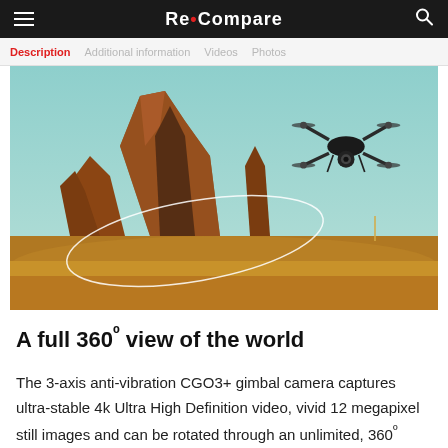Re•Compare
Description   Additional information   Videos   Photos
[Figure (photo): A drone (quadcopter with gimbal camera) flying above a dramatic desert rock formation (similar to Monument Valley), with a white circular orbit path illustrated around the formation. Sky is teal/light blue. Sandy desert terrain below.]
A full 360º view of the world
The 3-axis anti-vibration CGO3+ gimbal camera captures ultra-stable 4k Ultra High Definition video, vivid 12 megapixel still images and can be rotated through an unlimited, 360º range of motion. The CGO3+